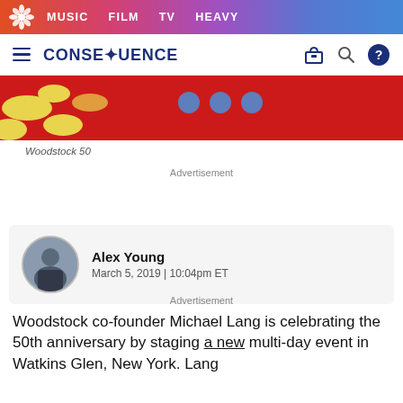MUSIC   FILM   TV   HEAVY
CONSEQUENCE
[Figure (photo): Red background hero image with yellow flower petals on left and blue dots/shapes in center]
Woodstock 50
Advertisement
Alex Young
March 5, 2019 | 10:04pm ET
Advertisement
Woodstock co-founder Michael Lang is celebrating the 50th anniversary by staging a new multi-day event in Watkins Glen, New York. Lang